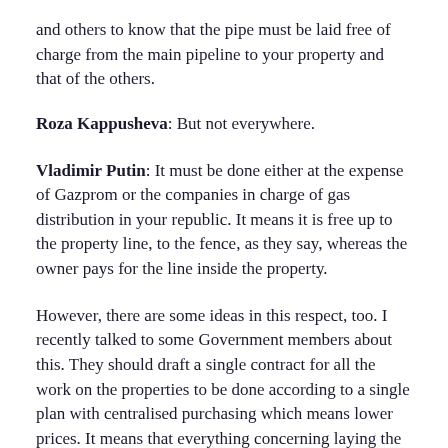and others to know that the pipe must be laid free of charge from the main pipeline to your property and that of the others.
Roza Kappusheva: But not everywhere.
Vladimir Putin: It must be done either at the expense of Gazprom or the companies in charge of gas distribution in your republic. It means it is free up to the property line, to the fence, as they say, whereas the owner pays for the line inside the property.
However, there are some ideas in this respect, too. I recently talked to some Government members about this. They should draft a single contract for all the work on the properties to be done according to a single plan with centralised purchasing which means lower prices. It means that everything concerning laying the pipe up to the fence, to your property, must be done for free, not for 200, 300 or even 100,000 rubles. In some places it might even cost a million. But this should never be